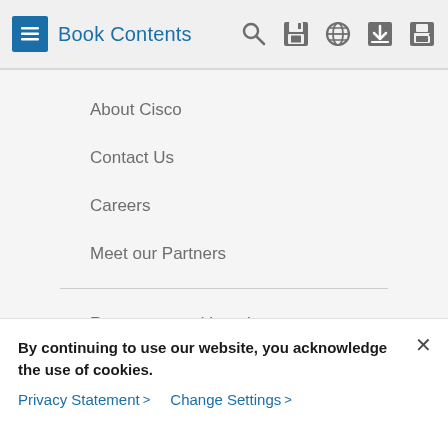Book Contents
About Cisco
Contact Us
Careers
Meet our Partners
Resources and Legal
Feedback
Help
By continuing to use our website, you acknowledge the use of cookies.
Privacy Statement > Change Settings >